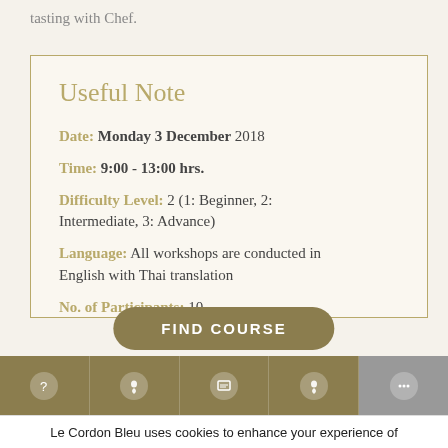tasting with Chef.
Useful Note
Date: Monday 3 December 2018
Time: 9:00 - 13:00 hrs.
Difficulty Level: 2 (1: Beginner, 2: Intermediate, 3: Advance)
Language: All workshops are conducted in English with Thai translation
No. of Participants: 10
FIND COURSE
Le Cordon Bleu uses cookies to enhance your experience of